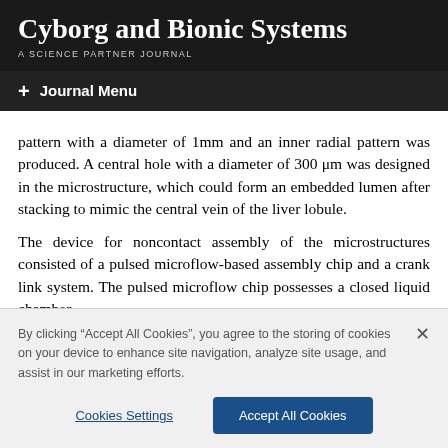Cyborg and Bionic Systems
A SCIENCE PARTNER JOURNAL
+ Journal Menu
pattern with a diameter of 1 mm and an inner radial pattern was produced. A central hole with a diameter of 300 μm was designed in the microstructure, which could form an embedded lumen after stacking to mimic the central vein of the liver lobule.
The device for noncontact assembly of the microstructures consisted of a pulsed microflow-based assembly chip and a crank link system. The pulsed microflow chip possesses a closed liquid chamber
By clicking "Accept All Cookies", you agree to the storing of cookies on your device to enhance site navigation, analyze site usage, and assist in our marketing efforts.
Cookies Settings
Accept All Cookies